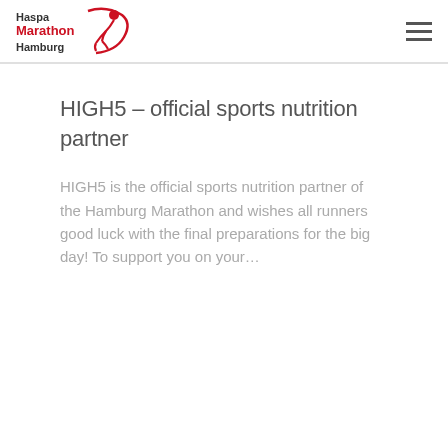Haspa Marathon Hamburg
HIGH5 – official sports nutrition partner
HIGH5 is the official sports nutrition partner of the Hamburg Marathon and wishes all runners good luck with the final preparations for the big day! To support you on your…